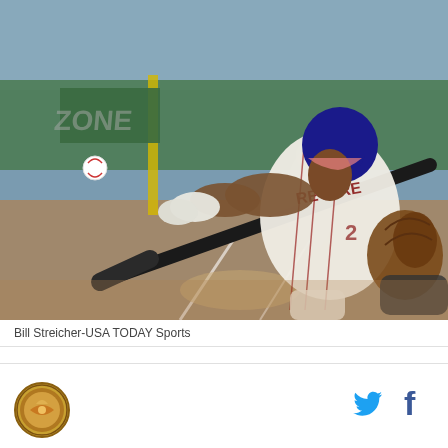[Figure (photo): Baseball player wearing jersey number 2 with name REVERE, swinging a dark bat at a baseball. Player wears a blue helmet and white uniform with red pinstripes. A catcher's glove is visible at right. Background shows a green outfield wall and blurred crowd.]
Bill Streicher-USA TODAY Sports
[Figure (logo): Circular logo/seal with brown and gold colors, appears to be a sports or organization emblem]
[Figure (other): Twitter bird icon in blue and Facebook 'f' icon in dark blue, social media share buttons]